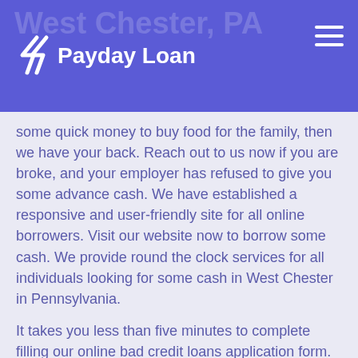Payday Loan
some quick money to buy food for the family, then we have your back. Reach out to us now if you are broke, and your employer has refused to give you some advance cash. We have established a responsive and user-friendly site for all online borrowers. Visit our website now to borrow some cash. We provide round the clock services for all individuals looking for some cash in West Chester in Pennsylvania.
It takes you less than five minutes to complete filling our online bad credit loans application form. Once we have approved the application, we do all we can to ensure you get the funds before the next or the same business day. Sometimes it takes less than one business day to get a loan from our company. If you meet all the requirements for an advance loan, then you can always rely on us for